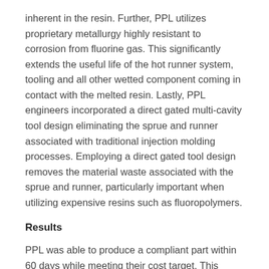inherent in the resin. Further, PPL utilizes proprietary metallurgy highly resistant to corrosion from fluorine gas. This significantly extends the useful life of the hot runner system, tooling and all other wetted component coming in contact with the melted resin. Lastly, PPL engineers incorporated a direct gated multi-cavity tool design eliminating the sprue and runner associated with traditional injection molding processes. Employing a direct gated tool design removes the material waste associated with the sprue and runner, particularly important when utilizing expensive resins such as fluoropolymers.
Results
PPL was able to produce a compliant part within 60 days while meeting their cost target. This